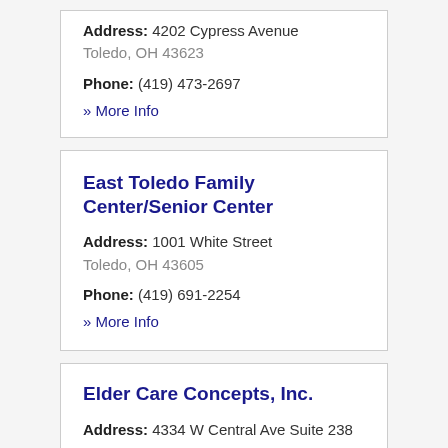Address: 4202 Cypress Avenue
Toledo, OH 43623
Phone: (419) 473-2697
» More Info
East Toledo Family Center/Senior Center
Address: 1001 White Street
Toledo, OH 43605
Phone: (419) 691-2254
» More Info
Elder Care Concepts, Inc.
Address: 4334 W Central Ave Suite 238